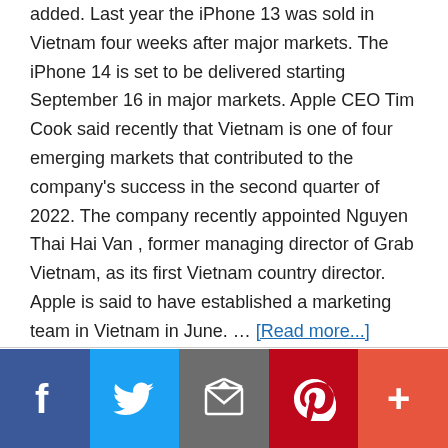added. Last year the iPhone 13 was sold in Vietnam four weeks after major markets. The iPhone 14 is set to be delivered starting September 16 in major markets. Apple CEO Tim Cook said recently that Vietnam is one of four emerging markets that contributed to the company's success in the second quarter of 2022. The company recently appointed Nguyen Thai Hai Van , former managing director of Grab Vietnam, as its first Vietnam country director. Apple is said to have established a marketing team in Vietnam in June. … [Read more...]
[Figure (infographic): Social sharing bar with buttons for Facebook (dark blue), Twitter (light blue), Email (grey), Pinterest (red), and More (orange-red)]